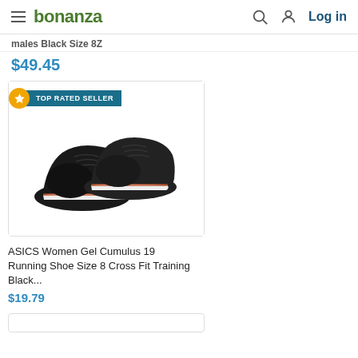bonanza | Log in
males Black Size 8Z
$49.45
[Figure (photo): Product listing card showing a pair of black ASICS Women Gel Cumulus 19 running shoes on white background, with TOP RATED SELLER badge in upper left corner]
ASICS Women Gel Cumulus 19 Running Shoe Size 8 Cross Fit Training Black...
$19.79